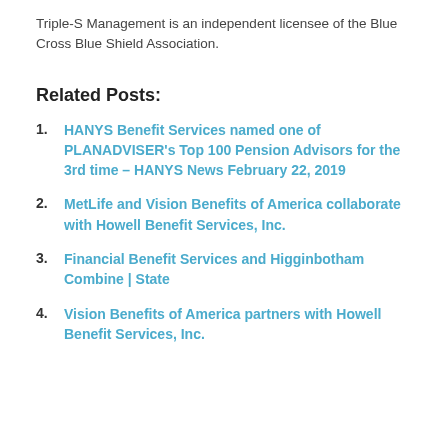Triple-S Management is an independent licensee of the Blue Cross Blue Shield Association.
Related Posts:
HANYS Benefit Services named one of PLANADVISER's Top 100 Pension Advisors for the 3rd time – HANYS News February 22, 2019
MetLife and Vision Benefits of America collaborate with Howell Benefit Services, Inc.
Financial Benefit Services and Higginbotham Combine | State
Vision Benefits of America partners with Howell Benefit Services, Inc.